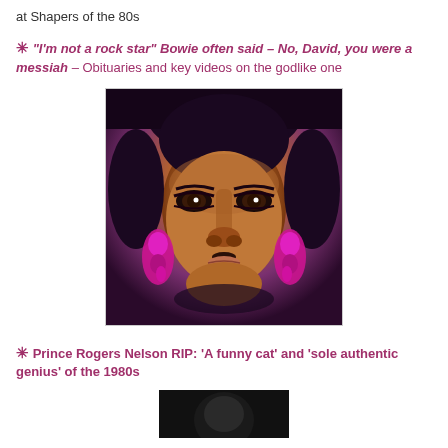at Shapers of the 80s
✳ “I’m not a rock star” Bowie often said – No, David, you were a messiah – Obituaries and key videos on the godlike one
[Figure (photo): Close-up portrait photo of Prince wearing purple/magenta earrings, looking intensely at camera with dramatic eye makeup]
✳ Prince Rogers Nelson RIP: ‘A funny cat’ and ‘sole authentic genius’ of the 1980s
[Figure (photo): Partial photo at bottom of page, dark background, appears to be another portrait]